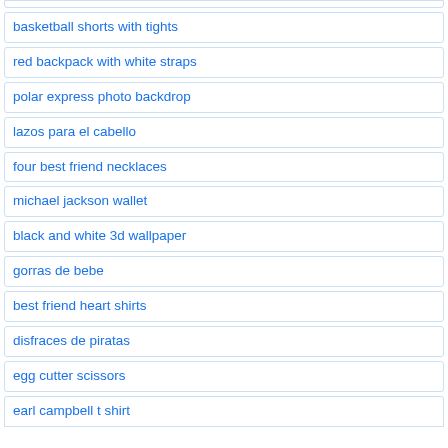basketball shorts with tights
red backpack with white straps
polar express photo backdrop
lazos para el cabello
four best friend necklaces
michael jackson wallet
black and white 3d wallpaper
gorras de bebe
best friend heart shirts
disfraces de piratas
egg cutter scissors
earl campbell t shirt